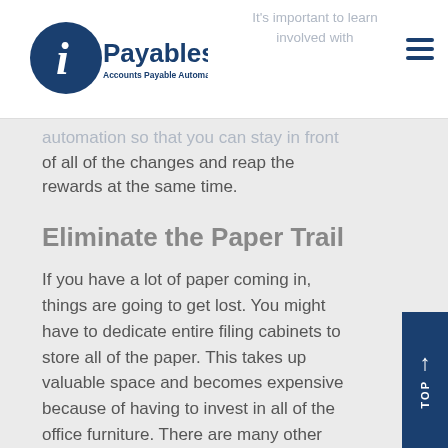[Figure (logo): iPayables logo with circular icon and text 'Accounts Payable Automation']
It's important to learn involved with automation so that you can stay in front
of all of the changes and reap the rewards at the same time.
Eliminate the Paper Trail
If you have a lot of paper coming in, things are going to get lost. You might have to dedicate entire filing cabinets to store all of the paper. This takes up valuable space and becomes expensive because of having to invest in all of the office furniture. There are many other things that you can spend that same